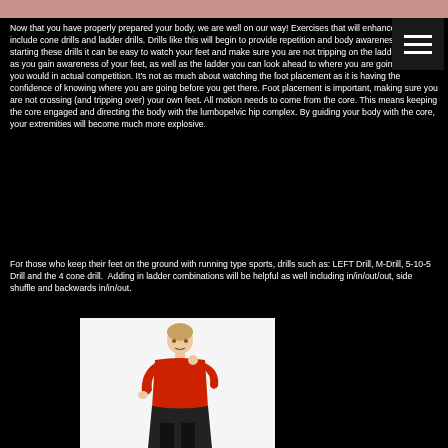Now that you have properly prepared your body, we are well on our way! Exercises that will enhance agility will include cone drills and ladder drills. Drills like this will begin to provide repetition and body awareness. When starting these drills it can be easy to watch your feet and make sure you are not tripping on the ladder. However, as you gain awareness of your feet, as well as the ladder you can look ahead to where you are going, just as you would in actual competition. It's not as much about watching the foot placement as it is having the confidence of knowing where you are going before you get there. Foot placement is important, making sure you are not crossing (and tripping over) your own feet. All motion needs to come from the core. This means keeping the core engaged and directing the body with the lumbopelvic hip complex. By guiding your body with the core, your extremities will become much more explosive.
For those who keep their feet on the ground with running type sports, drills such as: LEFT Drill, M-Drill, 5-10-5 Drill and the 4 cone drill. Adding in ladder combinations will be helpful as well including in/in/out/out, side shuffle and backwards in/in/out.
[Figure (photo): A woman in a red shirt running or exercising against a white background]